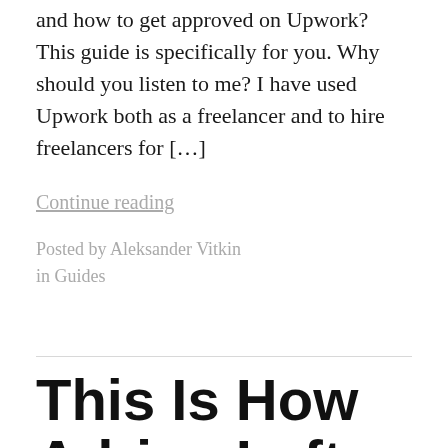and how to get approved on Upwork? This guide is specifically for you. Why should you listen to me? I have used Upwork both as a freelancer and to hire freelancers for […]
Continue reading
Posted by Aleksander Vitkin in Guides
This Is How Adrian Left a